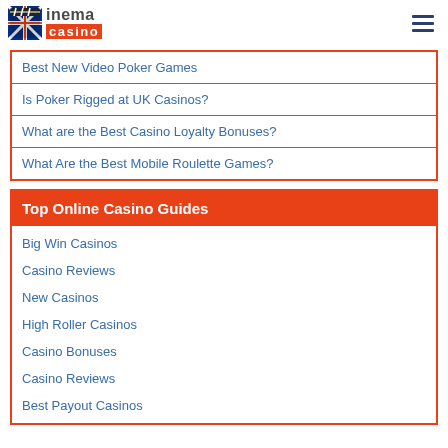inema casino
Best New Video Poker Games
Is Poker Rigged at UK Casinos?
What are the Best Casino Loyalty Bonuses?
What Are the Best Mobile Roulette Games?
Top Online Casino Guides
Big Win Casinos
Casino Reviews
New Casinos
High Roller Casinos
Casino Bonuses
Casino Reviews
Best Payout Casinos